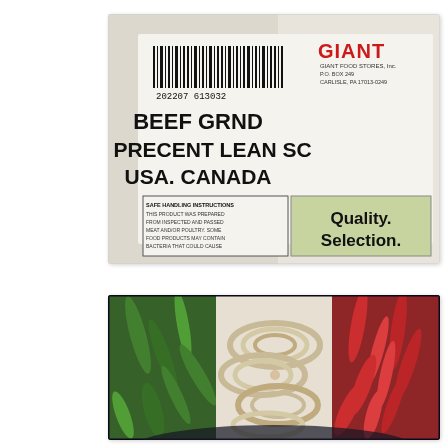[Figure (photo): Close-up photo of a Giant Food Stores product label on ground beef packaging. Shows a barcode reading 202207 613032, the Giant Food Stores logo with address P.O. BOX 249, CARLISLE, PA 17013-0249, product name 'BEEF GRND 92 PRECENT LEAN SC USA. CANADA', safe handling instructions text, and a green Quality Selection badge.]
[Figure (photo): Close-up photo of a plastic tray containing sliced vegetables arranged in sections: green bell pepper strips on the left, white onion rings in the center, and red bell pepper strips on the right.]